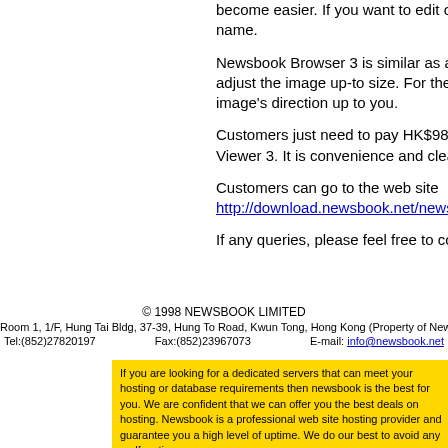become easier. If you want to edit or modify name.
Newsbook Browser 3 is similar as a browser, adjust the image up-to size. For the rotation image's direction up to you.
Customers just need to pay HK$98 then can Viewer 3. It is convenience and clear for vie
Customers can go to the web site http://download.newsbook.net/newsbookviewer
If any queries, please feel free to contact us
© 1998 NEWSBOOK LIMITED
Room 1, 1/F, Hung Tai Bldg, 37-39, Hung To Road, Kwun Tong, Hong Kong (Property of Newsbook Gr
Tel:(852)27820197    Fax:(852)23967073    E-mail: info@newsbook.net
If you are looking for a dedicated servers that can meet your hosting or database requirements then newsbook is the best for you. We are confident that we can offer you the best deals on hosting. Newsbook is a professional web site hosting provider and guarantee you a high level of uptime. We do our best to avoid any malfunctions.

Colocation, Server Colocation, Rack Space (Rackspace), High Speed Internet, Email Hosting, Exchange Hosting, Web Hosting, Sitemap, News,1,2, web design, domain name registration, online shoppingWharf T & T server rental